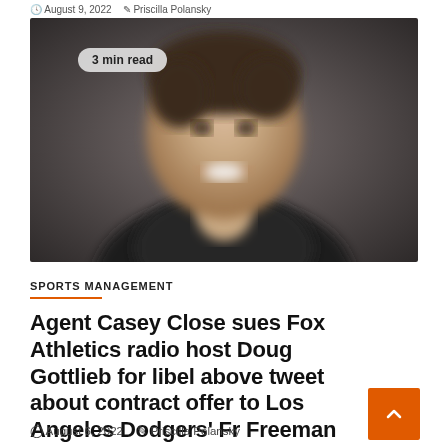August 9, 2022  Priscilla Polansky
[Figure (photo): Blurred headshot of a smiling man in a dark suit and white shirt against a dark grey background, with a '3 min read' badge in the upper left corner of the image.]
SPORTS MANAGEMENT
Agent Casey Close sues Fox Athletics radio host Doug Gottlieb for libel above tweet about contract offer to Los Angeles Dodgers' Fr Freeman
August 6, 2022  Priscilla Polansky